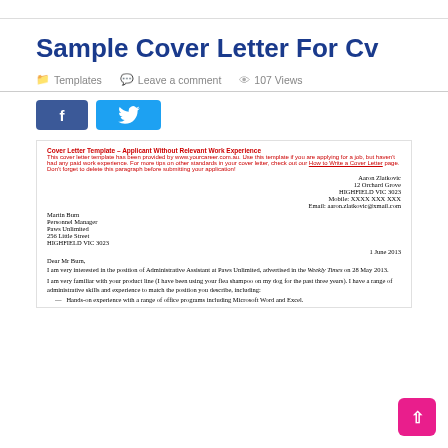Sample Cover Letter For Cv
Templates   Leave a comment   107 Views
[Figure (illustration): Facebook and Twitter social share buttons]
Cover Letter Template – Applicant Without Relevant Work Experience. This cover letter template has been provided by www.yourcareer.com.au. Use this template if you are applying for a job, but haven't had any paid work experience. For more tips on other standards in your cover letter, check out our How to Write a Cover Letter page. Don't forget to delete this paragraph before submitting your application!
Aaron Zlatkovic
12 Orchard Grove
HIGHFIELD VIC 3023
Mobile: XXXX XXX XXX
Email: aaron.zlatkovic@xmail.com
Martin Burn
Personnel Manager
Paws Unlimited
256 Little Street
HIGHFIELD VIC 3023
1 June 2013
Dear Mr Burn,
I am very interested in the position of Administrative Assistant at Paws Unlimited, advertised in the Weekly Times on 28 May 2013.
I am very familiar with your product line (I have been using your flea shampoo on my dog for the past three years). I have a range of administrative skills and experience to match the position you describe, including:
Hands-on experience with a range of office programs including Microsoft Word and Excel.